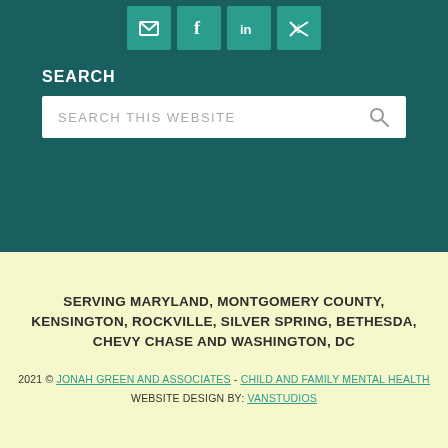[Figure (other): Social media icon buttons: email, Facebook, LinkedIn, Twitter on teal background]
SEARCH
[Figure (other): Search input box with placeholder text SEARCH THIS WEBSITE and magnifying glass icon]
SERVING MARYLAND, MONTGOMERY COUNTY, KENSINGTON, ROCKVILLE, SILVER SPRING, BETHESDA, CHEVY CHASE AND WASHINGTON, DC
2021 © JONAH GREEN AND ASSOCIATES - CHILD AND FAMILY MENTAL HEALTH WEBSITE DESIGN BY: VANSTUDIOS